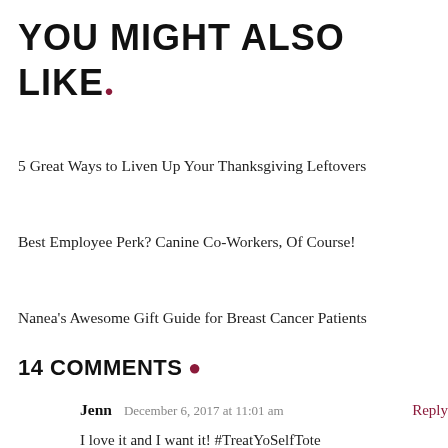YOU MIGHT ALSO LIKE.
5 Great Ways to Liven Up Your Thanksgiving Leftovers
Best Employee Perk? Canine Co-Workers, Of Course!
Nanea’s Awesome Gift Guide for Breast Cancer Patients
14 COMMENTS
Jenn  December 6, 2017 at 11:01 am  Reply
I love it and I want it! #TreatYoSelfTote #SPC